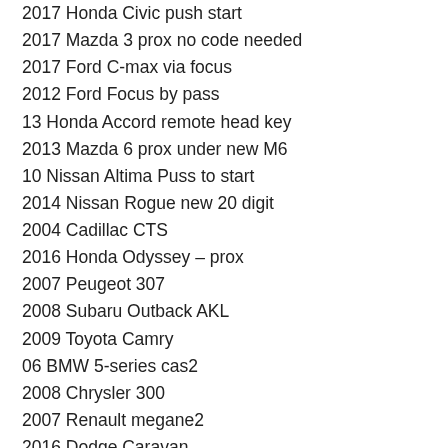2017 Honda Civic push start
2017 Mazda 3 prox no code needed
2017 Ford C-max via focus
2012 Ford Focus by pass
13 Honda Accord remote head key
2013 Mazda 6 prox under new M6
10 Nissan Altima Puss to start
2014 Nissan Rogue new 20 digit
2004 Cadillac CTS
2016 Honda Odyssey – prox
2007 Peugeot 307
2008 Subaru Outback AKL
2009 Toyota Camry
06 BMW 5-series cas2
2008 Chrysler 300
2007 Renault megane2
2016 Dodge Caravan
06 F150
2012 Mazda 3 Prox
2009 Chrysler 300
2013 Ford F-250